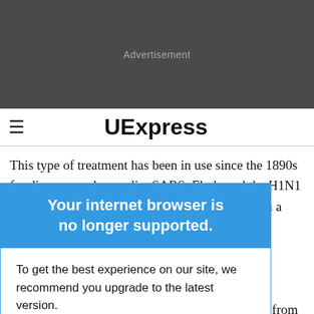[Figure (other): Dark gray advertisement banner with 'Advertisement' label in gray text]
≡  UExpress
This type of treatment has been in use since the 1890s for diseases such as polio, SARS, Ebola and the H1N1 … 19 arises from a … d four women - … in China. … ill with COVID-19, received a single dose of antibodies gathered from
Your internet browser is no longer supported.
To get the best experience on our site, we recommend you upgrade to the latest version.